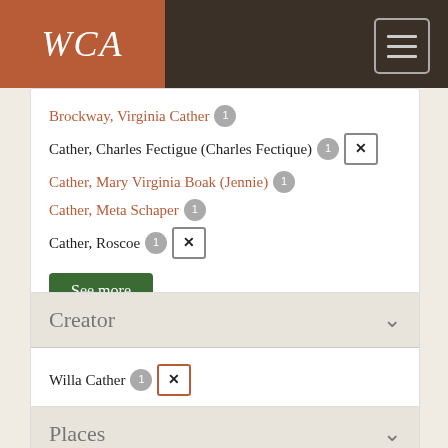WCA
Brockway, Virginia Cather [1]
Cather, Charles Fectigue (Charles Fectique) [1] [x]
Cather, Mary Virginia Boak (Jennie) [1]
Cather, Meta Schaper [1]
Cather, Roscoe [1] [x]
See more
Creator
Willa Cather [1] [x]
See more
Places